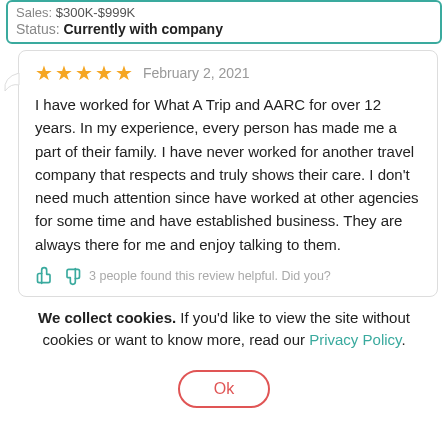Sales: $300K-$999K
Status: Currently with company
February 2, 2021 — 5 stars
I have worked for What A Trip and AARC for over 12 years. In my experience, every person has made me a part of their family. I have never worked for another travel company that respects and truly shows their care. I don't need much attention since have worked at other agencies for some time and have established business. They are always there for me and enjoy talking to them.
3 people found this review helpful. Did you?
We collect cookies. If you'd like to view the site without cookies or want to know more, read our Privacy Policy.
Ok